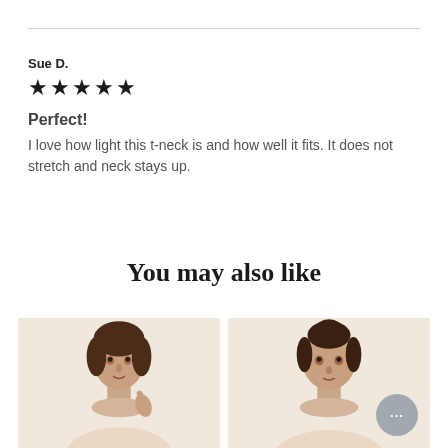Sue D.
★★★★★
Perfect!
I love how light this t-neck is and how well it fits. It does not stretch and neck stays up.
You may also like
[Figure (photo): Two product photos of a female model wearing a turtleneck top, shown side by side on a warm beige background. Left image shows the model from chest up, right image shows the model from shoulders up. A chat bubble/button with ellipsis is overlaid on the right image.]